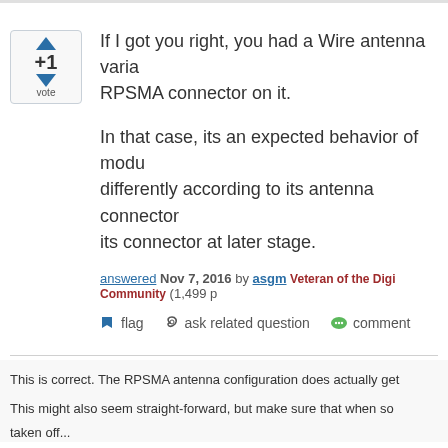[Figure (other): Vote widget showing up arrow, +1 count, down arrow, and 'vote' label inside a bordered box]
If I got you right, you had a Wire antenna varia RPSMA connector on it.
In that case, its an expected behavior of modu differently according to its antenna connector its connector at later stage.
answered Nov 7, 2016 by asgm Veteran of the Digi Community (1,499 p
flag  ask related question  comment
This is correct.  The RPSMA antenna configuration does actually get
This might also seem straight-forward, but make sure that when so taken off...